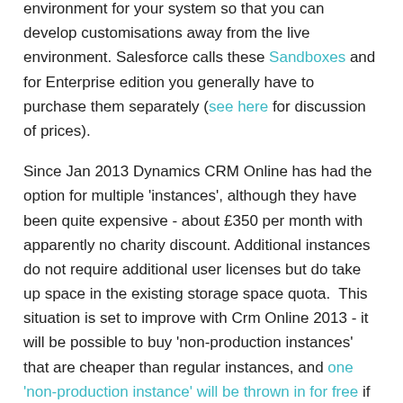environment for your system so that you can develop customisations away from the live environment. Salesforce calls these Sandboxes and for Enterprise edition you generally have to purchase them separately (see here for discussion of prices).
Since Jan 2013 Dynamics CRM Online has had the option for multiple 'instances', although they have been quite expensive - about £350 per month with apparently no charity discount. Additional instances do not require additional user licenses but do take up space in the existing storage space quota. This situation is set to improve with Crm Online 2013 - it will be possible to buy 'non-production instances' that are cheaper than regular instances, and one 'non-production instance' will be thrown in for free if you buy 25 or more Professional licenses.